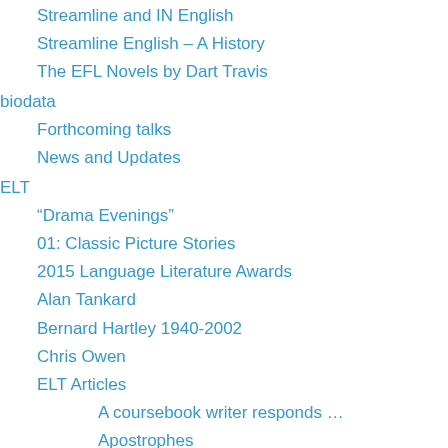Streamline and IN English
Streamline English – A History
The EFL Novels by Dart Travis
biodata
Forthcoming talks
News and Updates
ELT
“Drama Evenings”
01: Classic Picture Stories
2015 Language Literature Awards
Alan Tankard
Bernard Hartley 1940-2002
Chris Owen
ELT Articles
A coursebook writer responds …
Apostrophes
Audio Books
Authentic? Or memorable?
British and American English 1
British and American English 2